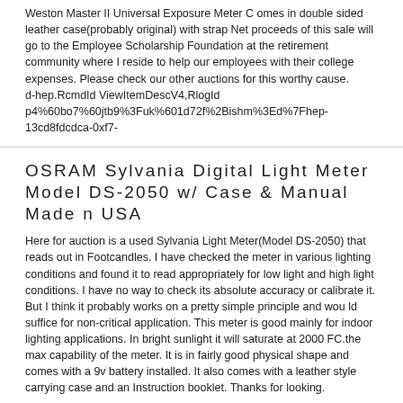Weston Master II Universal Exposure Meter C omes in double sided leather case(probably original) with strap Net proceeds of this sale will go to the Employee Scholarship Foundation at the retirement community where I reside to help our employees with their college expenses. Please check our other auctions for this worthy cause. d‑hep.RcmdId ViewItemDescV4,RlogId p4%60bo7%60jtb9%3Fuk%601d72f%2Bishm%3Ed%7Fhep-13cd8fdcdca-0xf7-
OSRAM Sylvania Digital Light Meter Model DS-2050 w/ Case & Manual Made n USA
Here for auction is a used Sylvania Light Meter(Model DS-2050) that reads out in Footcandles. I have checked the meter in various lighting conditions and found it to read appropriately for low light and high light conditions. I have no way to check its absolute accuracy or calibrate it. But I think it probably works on a pretty simple principle and wou ld suffice for non-critical application. This meter is good mainly for indoor lighting applications. In bright sunlight it will saturate at 2000 FC.the max capability of the meter. It is in fairly good physical shape and comes with a 9v battery installed. It also comes with a leather style carrying case and an Instruction booklet. Thanks for looking.
VINTAGE GOSSEN LUNASIX CAMERA LIGHT METER IN LEATHER CASE MADE